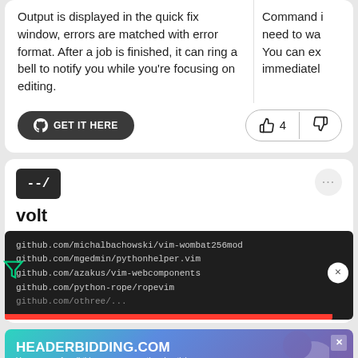Output is displayed in the quick fix window, errors are matched with error format. After a job is finished, it can ring a bell to notify you while you're focusing on editing.
Command i need to wa You can ex immediatel
[Figure (screenshot): GET IT HERE button with GitHub logo (dark rounded button) and thumbs up/down vote buttons showing 4 upvotes]
[Figure (logo): --/ logo in dark box (volt plugin logo)]
volt
[Figure (screenshot): Dark code block showing github.com URLs: github.com/michalbachowski/vim-wombat256mod, github.com/mgedmin/pythonhelper.vim, github.com/azakus/vim-webcomponents, github.com/python-rope/ropevim, github.com/othree/... with close X button and red bar]
[Figure (screenshot): HEADERBIDDING.COM advertisement banner with subtitle 'Your source for all things programmatic advertising.' on gradient teal-blue-purple background]